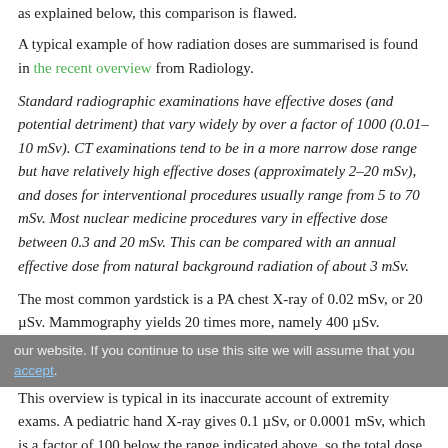as explained below, this comparison is flawed.
A typical example of how radiation doses are summarised is found in the recent overview from Radiology.
Standard radiographic examinations have effective doses (and potential detriment) that vary widely by over a factor of 1000 (0.01–10 mSv). CT examinations tend to be in a more narrow dose range but have relatively high effective doses (approximately 2–20 mSv), and doses for interventional procedures usually range from 5 to 70 mSv. Most nuclear medicine procedures vary in effective dose between 0.3 and 20 mSv. This can be compared with an annual effective dose from natural background radiation of about 3 mSv.
The most common yardstick is a PA chest X-ray of 0.02 mSv, or 20 µSv. Mammography yields 20 times more, namely 400 µSv.
our website. If you continue to use this site we will assume that you [cookie link text]
This overview is typical in its inaccurate account of extremity exams. A pediatric hand X-ray gives 0.1 µSv, or 0.0001 mSv, which is a factor of 100 below the range indicated above, so the total dose range of radiographic examinations by a factor of